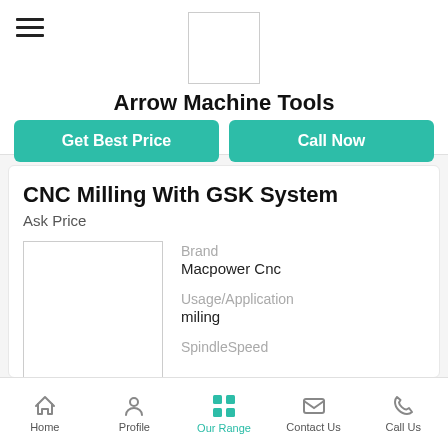Arrow Machine Tools
Get Best Price
Call Now
CNC Milling With GSK System
Ask Price
Brand
Macpower Cnc
Usage/Application
miling
Spindle Speed
Home  Profile  Our Range  Contact Us  Call Us